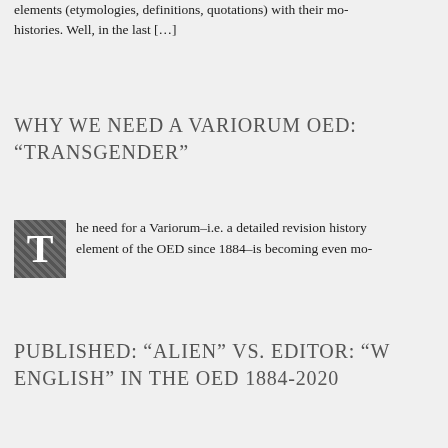elements (etymologies, definitions, quotations) with their mo- histories. Well, in the last […]
WHY WE NEED A VARIORUM OED: “TRANSGENDER”
The need for a Variorum–i.e. a detailed revision history element of the OED since 1884–is becoming even mo-
PUBLISHED: “ALIEN” VS. EDITOR: “W ENGLISH” IN THE OED 1884-2020